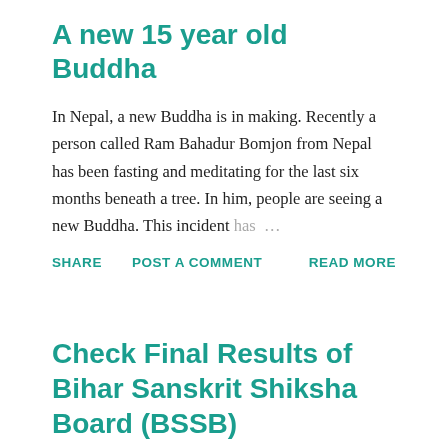A new 15 year old Buddha
In Nepal, a new Buddha is in making. Recently a person called Ram Bahadur Bomjon from Nepal has been fasting and meditating for the last six months beneath a tree. In him, people are seeing a new Buddha. This incident has …
SHARE
POST A COMMENT
READ MORE
Check Final Results of Bihar Sanskrit Shiksha Board (BSSB)
Finally, after quite a struggle details are available about